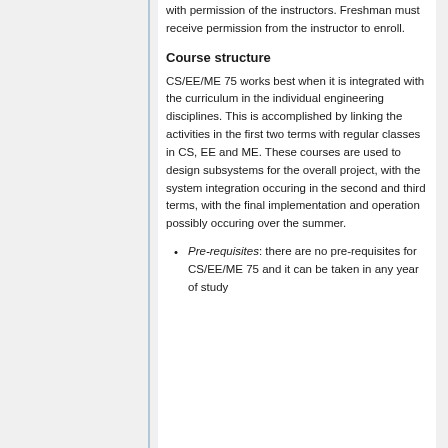with permission of the instructors. Freshman must receive permission from the instructor to enroll.
Course structure
CS/EE/ME 75 works best when it is integrated with the curriculum in the individual engineering disciplines. This is accomplished by linking the activities in the first two terms with regular classes in CS, EE and ME. These courses are used to design subsystems for the overall project, with the system integration occuring in the second and third terms, with the final implementation and operation possibly occuring over the summer.
Pre-requisites: there are no pre-requisites for CS/EE/ME 75 and it can be taken in any year of study